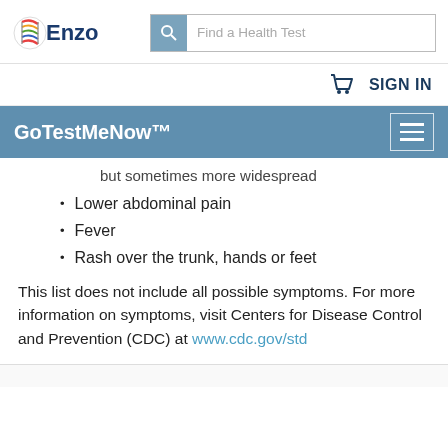[Figure (logo): Enzo logo with stylized DNA helix and search bar reading 'Find a Health Test']
SIGN IN
GoTestMeNow™
but sometimes more widespread
Lower abdominal pain
Fever
Rash over the trunk, hands or feet
This list does not include all possible symptoms. For more information on symptoms, visit Centers for Disease Control and Prevention (CDC) at www.cdc.gov/std